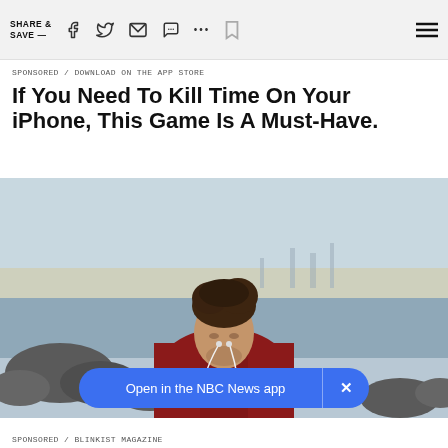SHARE & SAVE —
SPONSORED / DOWNLOAD ON THE APP STORE
If You Need To Kill Time On Your iPhone, This Game Is A Must-Have.
[Figure (photo): Man in red hoodie wearing earphones, looking down, standing near rocky waterfront with water and city skyline in the background]
Open in the NBC News app
SPONSORED / BLINKIST MAGAZINE